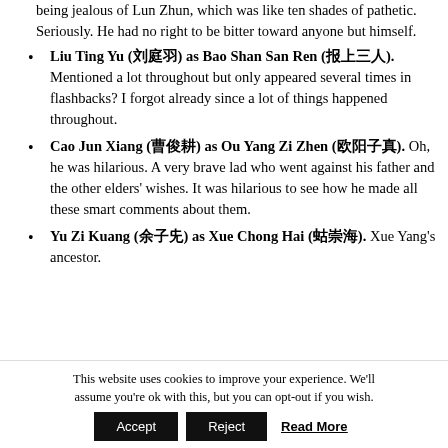being jealous of Lun Zhun, which was like ten shades of pathetic. Seriously. He had no right to be bitter toward anyone but himself.
Liu Ting Yu (刘庭羽) as Bao Shan San Ren (报上三人). Mentioned a lot throughout but only appeared several times in flashbacks? I forgot already since a lot of things happened throughout.
Cao Jun Xiang (曹俊翔) as Ou Yang Zi Zhen (欧阳子真). Oh, he was hilarious. A very brave lad who went against his father and the other elders' wishes. It was hilarious to see how he made all these smart comments about them.
Yu Zi Kuang (俞子匡) as Xue Chong Hai (薛崇海). Xue Yang's ancestor.
This website uses cookies to improve your experience. We'll assume you're ok with this, but you can opt-out if you wish.